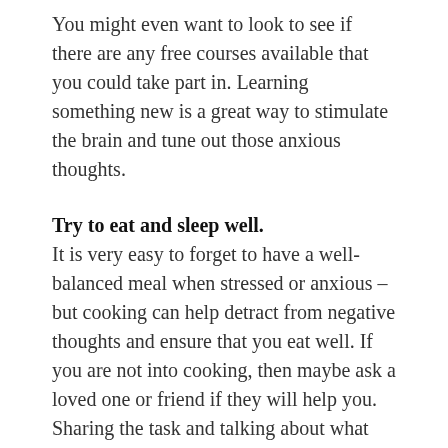You might even want to look to see if there are any free courses available that you could take part in. Learning something new is a great way to stimulate the brain and tune out those anxious thoughts.
Try to eat and sleep well.
It is very easy to forget to have a well-balanced meal when stressed or anxious – but cooking can help detract from negative thoughts and ensure that you eat well. If you are not into cooking, then maybe ask a loved one or friend if they will help you. Sharing the task and talking about what you are cooking can help take your mind off your worries. There are a lot of good websites that have simple recipes that you can follow. And after a good meal, don't forget to wind down ready for bed. Spend at least an hour winding down